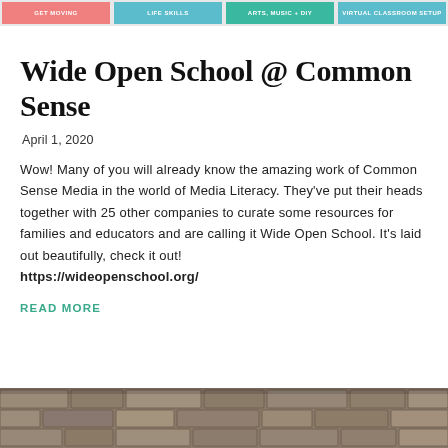GET MOVING | LIFE SKILLS | ARTS, MUSIC + DIY | VIRTUAL CLASSROOM SETUP
Wide Open School @ Common Sense
April 1, 2020
Wow! Many of you will already know the amazing work of Common Sense Media in the world of Media Literacy. They've put their heads together with 25 other companies to curate some resources for families and educators and are calling it Wide Open School. It's laid out beautifully, check it out! https://wideopenschool.org/
READ MORE
[Figure (photo): Stone brick wall texture photo at the bottom of the page]